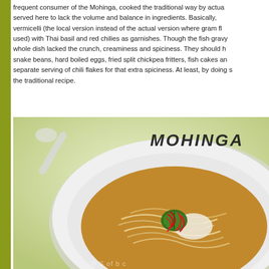frequent consumer of the Mohinga, cooked the traditional way by actual... served here to lack the volume and balance in ingredients. Basically, vermicelli (the local version instead of the actual version where gram flo... used) with Thai basil and red chilies as garnishes. Though the fish gravy ... whole dish lacked the crunch, creaminess and spiciness. They should h... snake beans, hard boiled eggs, fried split chickpea fritters, fish cakes an... separate serving of chili flakes for that extra spiciness. At least, by doing s... the traditional recipe.
[Figure (photo): A bowl of Mohinga (Burmese fish noodle soup) with rice vermicelli noodles in a golden-brown fish broth, garnished with a green herb leaf and red chili strips. The bowl is white and viewed from above. Background is light green. The word MOHINGA appears in bold stylized text in the upper right of the image.]